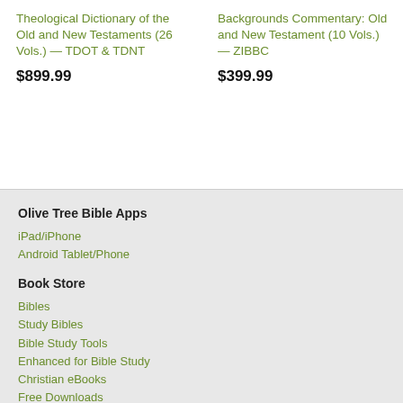Theological Dictionary of the Old and New Testaments (26 Vols.) — TDOT & TDNT
$899.99
Backgrounds Commentary: Old and New Testament (10 Vols.) — ZIBBC
$399.99
Olive Tree Bible Apps
iPad/iPhone
Android Tablet/Phone
Book Store
Bibles
Study Bibles
Bible Study Tools
Enhanced for Bible Study
Christian eBooks
Free Downloads
Olive Tree Rewards